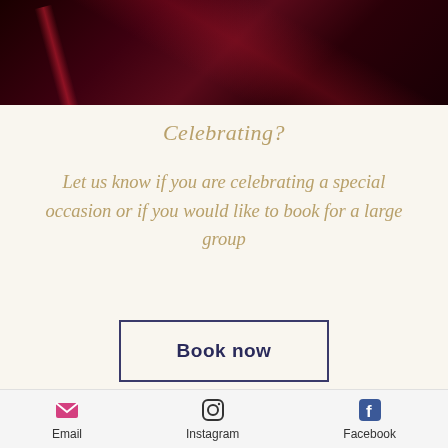[Figure (photo): Dark red/maroon close-up photo of a surface with a diagonal red highlight stripe]
Celebrating?
Let us know if you are celebrating a special occasion or if you would like to book for a large group
Book now
[Figure (photo): Dark background image at the bottom of the page]
Email   Instagram   Facebook